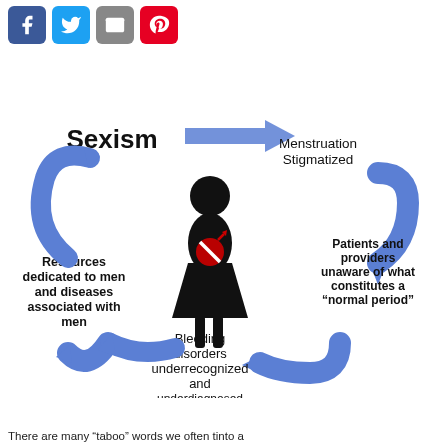[Figure (flowchart): Circular flowchart showing the cycle of sexism and menstrual health. Center shows a female silhouette with a red no-symbol on the abdomen. Arrows connecting: Sexism -> Menstruation Stigmatized -> Patients and providers unaware of what constitutes a normal period -> Bleeding disorders underrecognized and underdiagnosed -> Resources dedicated to men and diseases associated with men -> back to Sexism. Social media icons (Facebook, Twitter, Email, Pinterest) shown at top left.]
There are many "taboo" words we often tinto a